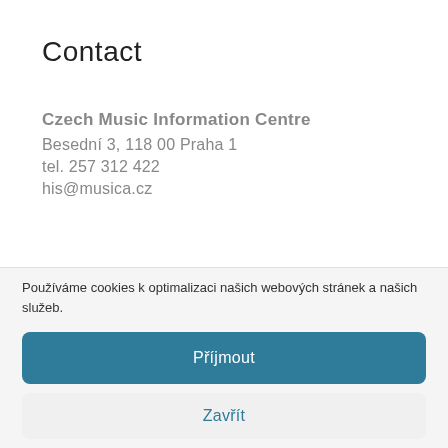Contact
Czech Music Information Centre
Besední 3, 118 00 Praha 1
tel. 257 312 422
his@musica.cz
Používáme cookies k optimalizaci našich webových stránek a našich služeb.
Příjmout
Zavřít
Podrobnosti